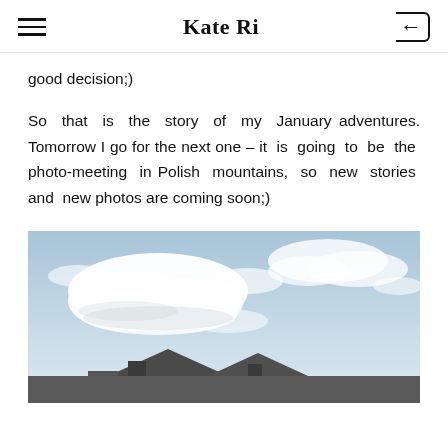Kate Ri
good decision;)
So that is the story of my January adventures. Tomorrow I go for the next one – it is going to be the photo-meeting in Polish mountains, so new stories and new photos are coming soon;)
[Figure (photo): Outdoor photograph showing a blue sky with white clouds and what appears to be a rooftop or building structure at the bottom edge.]